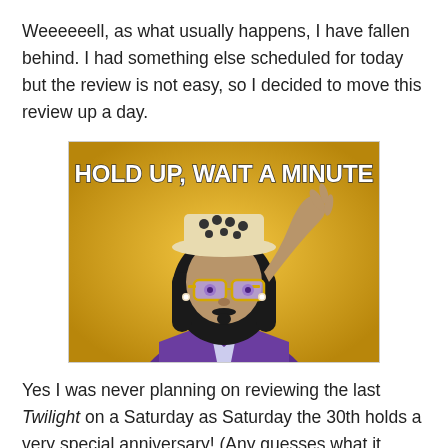Weeeeeell, as what usually happens, I have fallen behind. I had something else scheduled for today but the review is not easy, so I decided to move this review up a day.
[Figure (illustration): Meme image with golden/amber background showing an animated character in a purple jacket and cowboy hat with sunglasses, raising hand to hat brim. Bold white text at top reads 'HOLD UP, WAIT A MINUTE']
Yes I was never planning on reviewing the last Twilight on a Saturday as Saturday the 30th holds a very special anniversary! (Any guesses what it could be?) So Twilight was always going to be moved up a day, it's just going to be an even extra day. I don't feel bad about breaking the